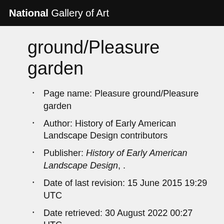National Gallery of Art
ground/Pleasure garden
Page name: Pleasure ground/Pleasure garden
Author: History of Early American Landscape Design contributors
Publisher: History of Early American Landscape Design, .
Date of last revision: 15 June 2015 19:29 UTC
Date retrieved: 30 August 2022 00:27 UTC